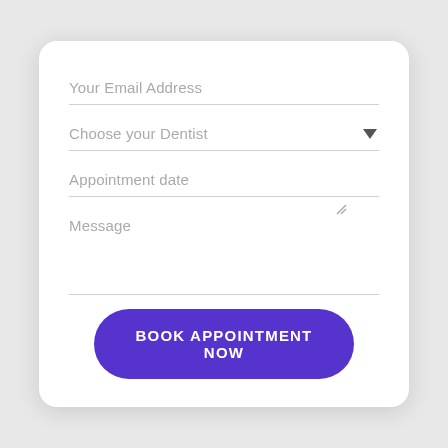Your Email Address
Choose your Dentist
Appointment date
Message
BOOK APPOINTMENT NOW